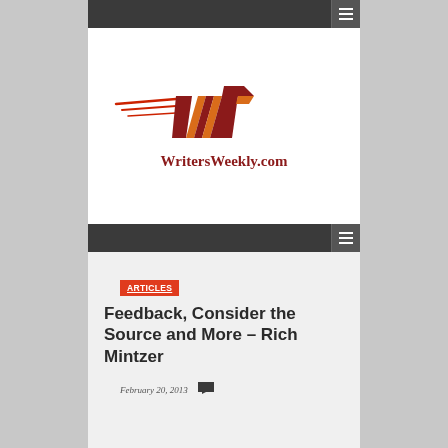WritersWeekly.com navigation bar (top)
[Figure (logo): WritersWeekly.com logo — stylized W lettermark in red/orange/dark red with speed lines, and WritersWeekly.com text below in dark red bold serif]
WritersWeekly.com navigation bar (second)
ARTICLES
Feedback, Consider the Source and More – Rich Mintzer
February 20, 2013